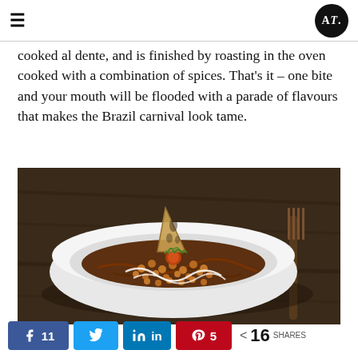AT logo and navigation
cooked al dente, and is finished by roasting in the oven cooked with a combination of spices. That's it – one bite and your mouth will be flooded with a parade of flavours that makes the Brazil carnival look tame.
[Figure (photo): A white bowl containing a dish with roasted chickpeas, drizzled with white and brown sauces, topped with a crispy cracker/chip and fresh herbs, placed on a dark wooden table with a wooden fork visible on the right side.]
11  (Facebook share) Twitter share  LinkedIn share  5 (Pinterest)  < 16 SHARES